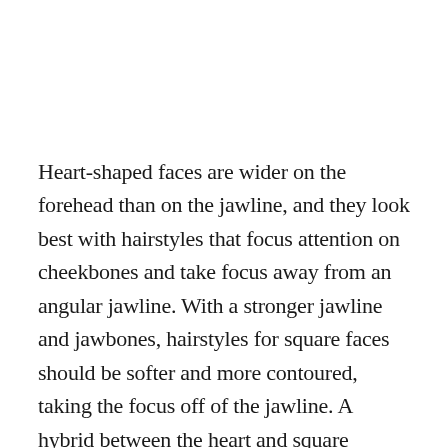Heart-shaped faces are wider on the forehead than on the jawline, and they look best with hairstyles that focus attention on cheekbones and take focus away from an angular jawline. With a stronger jawline and jawbones, hairstyles for square faces should be softer and more contoured, taking the focus off of the jawline. A hybrid between the heart and square shapes, those who have a diamond face are blessed with angular jawline and tall cheekbones. The best way to tackle this type of face is to tone down